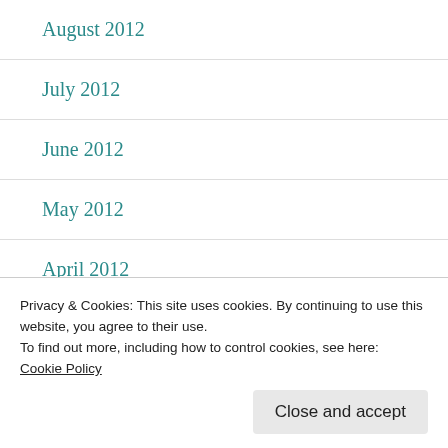August 2012
July 2012
June 2012
May 2012
April 2012
March 2012
February 2012
November 2011
Privacy & Cookies: This site uses cookies. By continuing to use this website, you agree to their use.
To find out more, including how to control cookies, see here:
Cookie Policy
Close and accept